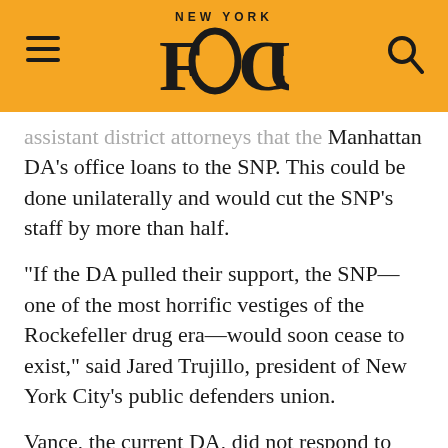NEW YORK FOCUS
assistant district attorneys that the Manhattan DA's office loans to the SNP. This could be done unilaterally and would cut the SNP's staff by more than half.
“If the DA pulled their support, the SNP—one of the most horrific vestiges of the Rockefeller drug era—would soon cease to exist,” said Jared Trujillo, president of New York City’s public defenders union.
Vance, the current DA, did not respond to multiple requests for comment on his policies regarding the SNP.